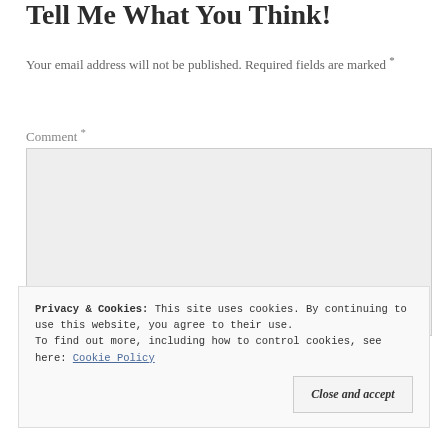Tell Me What You Think!
Your email address will not be published. Required fields are marked *
Comment *
[Figure (other): Comment text area input box with light gray background]
Privacy & Cookies: This site uses cookies. By continuing to use this website, you agree to their use.
To find out more, including how to control cookies, see here: Cookie Policy
Close and accept